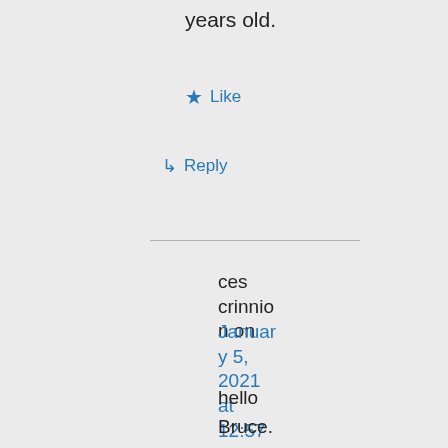years old.
★ Like
↵ Reply
ces crinnion on January 5, 2021 at 12:57 pm
hello Bruce.